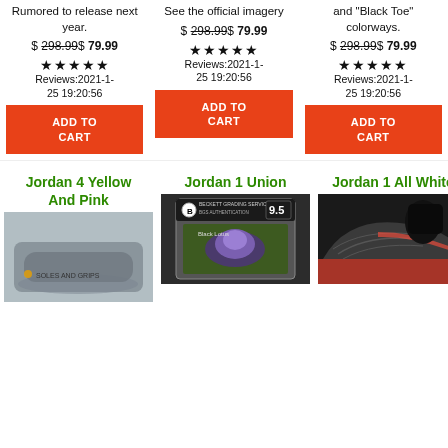Rumored to release next year.
See the official imagery
and "Black Toe" colorways.
$ 298.99$ 79.99
$ 298.99$ 79.99
$ 298.99$ 79.99
★★★★★ Reviews:2021-1-25 19:20:56
★★★★★ Reviews:2021-1-25 19:20:56
★★★★★ Reviews:2021-1-25 19:20:56
ADD TO CART
ADD TO CART
ADD TO CART
Jordan 4 Yellow And Pink
[Figure (photo): Jordan 4 Yellow And Pink sneaker product image]
Jordan 1 Union
[Figure (photo): Jordan 1 Union graded card with BGS 9.5 rating]
Jordan 1 All White
[Figure (photo): Jordan 1 All White sneaker close-up with orange sole]